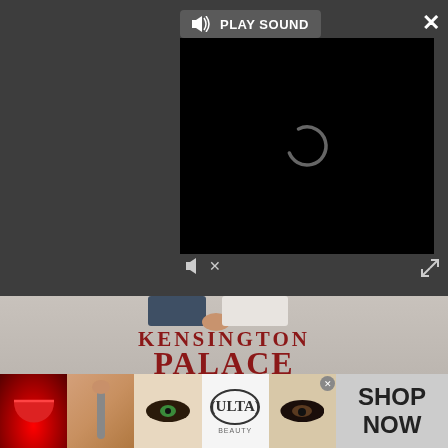[Figure (screenshot): Video player UI with dark gray background, PLAY SOUND button top center, black video screen with loading spinner, mute icon, X close button top right, expand icon bottom right]
[Figure (photo): Book cover for 'Kensington Palace: An Intimate Memoir from Queen Mary to Meghan Markle' showing two people holding hands, large red serif title text on light gray/cream background]
[Figure (photo): ULTA beauty advertisement banner at bottom showing makeup/beauty imagery and 'SHOP NOW' text]